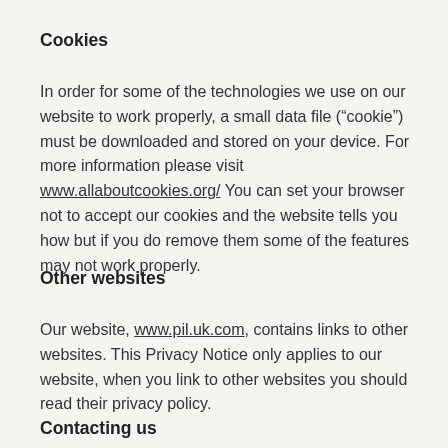Cookies
In order for some of the technologies we use on our website to work properly, a small data file (“cookie”) must be downloaded and stored on your device. For more information please visit www.allaboutcookies.org/ You can set your browser not to accept our cookies and the website tells you how but if you do remove them some of the features may not work properly.
Other websites
Our website, www.pil.uk.com, contains links to other websites. This Privacy Notice only applies to our website, when you link to other websites you should read their privacy policy.
Contacting us